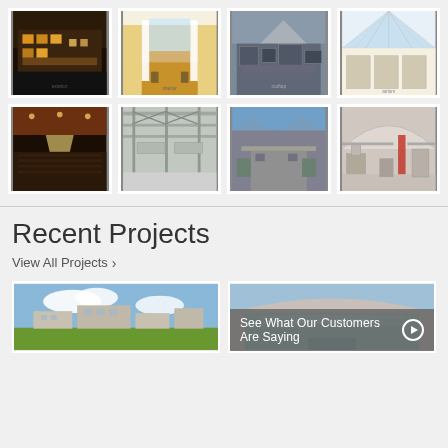[Figure (photo): Grid of 8 architectural/engineering project photos in two rows of four: row 1 shows exterior building night view, interior auditorium, rooftop mechanical equipment, glass skylight atrium; row 2 shows concert hall interior, industrial ceiling structure, urban aerial view, factory/industrial interior]
Recent Projects
View All Projects ›
[Figure (photo): Two project thumbnail photos side by side: left shows a campus/office building with green lawn and blue sky; right shows a modern arena or convention center with curved roof and teal glass facade]
See What Our Customers Are Saying ▶